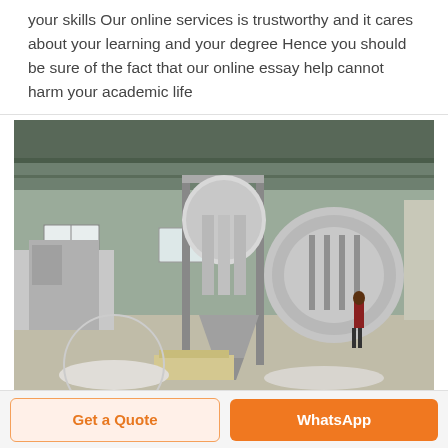your skills Our online services is trustworthy and it cares about your learning and your degree Hence you should be sure of the fact that our online essay help cannot harm your academic life
[Figure (photo): Industrial factory floor showing large stainless steel filling/packaging machinery with a worker visible in the background inside a large industrial building with green roof structure and windows.]
Get a Quote
WhatsApp